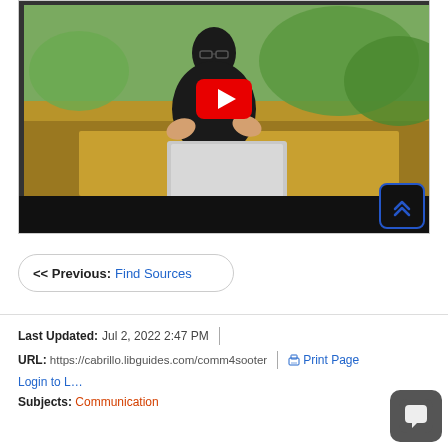[Figure (screenshot): YouTube video thumbnail showing a man in glasses and dark jacket sitting at a table with a laptop, trees visible through windows behind him. Red YouTube play button overlay in center. Black video controls bar at bottom with a blue double-chevron scroll-to-top button at bottom right.]
<< Previous: Find Sources
Last Updated: Jul 2, 2022 2:47 PM
URL: https://cabrillo.libguides.com/comm4sooter | Print Page | Login to L…
Subjects: Communication